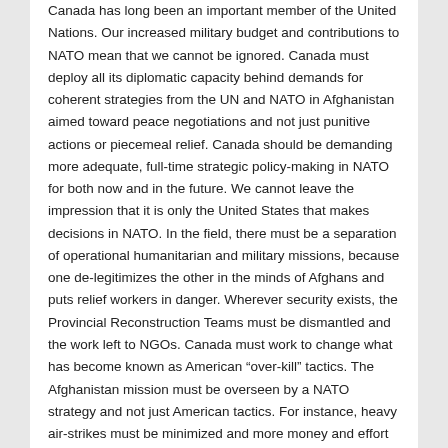Canada has long been an important member of the United Nations. Our increased military budget and contributions to NATO mean that we cannot be ignored. Canada must deploy all its diplomatic capacity behind demands for coherent strategies from the UN and NATO in Afghanistan aimed toward peace negotiations and not just punitive actions or piecemeal relief. Canada should be demanding more adequate, full-time strategic policy-making in NATO for both now and in the future. We cannot leave the impression that it is only the United States that makes decisions in NATO. In the field, there must be a separation of operational humanitarian and military missions, because one de-legitimizes the other in the minds of Afghans and puts relief workers in danger. Wherever security exists, the Provincial Reconstruction Teams must be dismantled and the work left to NGOs. Canada must work to change what has become known as American “over-kill” tactics. The Afghanistan mission must be overseen by a NATO strategy and not just American tactics. For instance, heavy air-strikes must be minimized and more money and effort must continue to be put into training and equipping the Afghan army and police. We